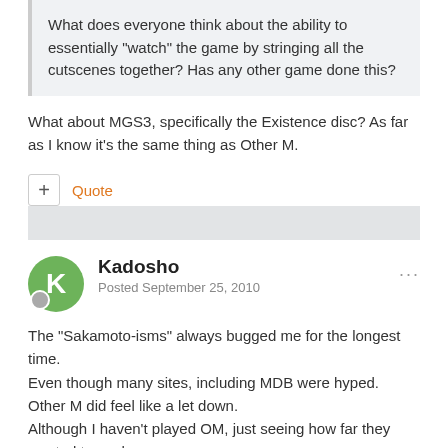What does everyone think about the ability to essentially "watch" the game by stringing all the cutscenes together? Has any other game done this?
What about MGS3, specifically the Existence disc? As far as I know it's the same thing as Other M.
Quote
Kadosho
Posted September 25, 2010
The "Sakamoto-isms" always bugged me for the longest time.
Even though many sites, including MDB were hyped. Other M did feel like a let down.
Although I haven't played OM, just seeing how far they wanted to push.
It wasn't what everyone hoped for. Trying to influence "cinematic", with